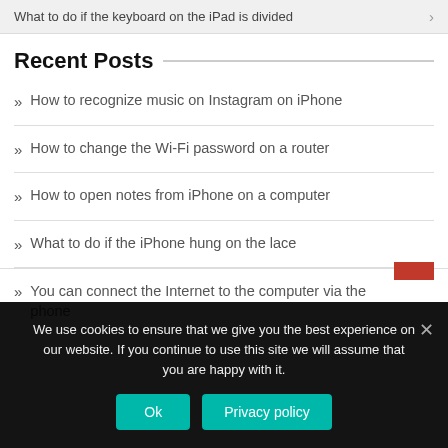What to do if the keyboard on the iPad is divided
Recent Posts
» How to recognize music on Instagram on iPhone
» How to change the Wi-Fi password on a router
» How to open notes from iPhone on a computer
» What to do if the iPhone hung on the lace
» You can connect the Internet to the computer via the phone
We use cookies to ensure that we give you the best experience on our website. If you continue to use this site we will assume that you are happy with it.